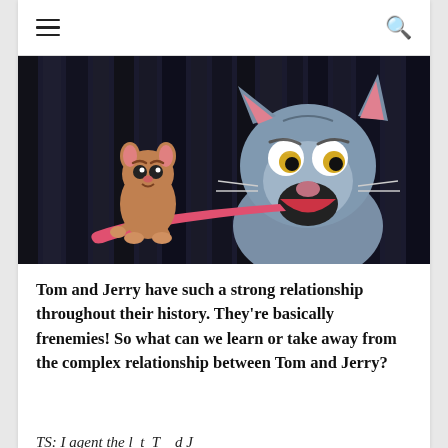☰  🔍
[Figure (illustration): Scene from Tom and Jerry animated film showing Jerry the mouse pulling Tom the cat's tongue while Tom looks shocked, set against dark vertical bars background.]
Tom and Jerry have such a strong relationship throughout their history. They're basically frenemies! So what can we learn or take away from the complex relationship between Tom and Jerry?
TS: I agent the l t T d J